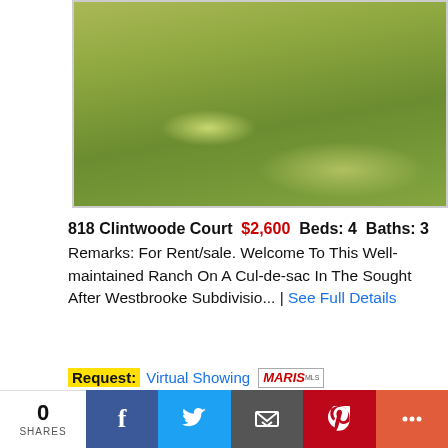[Figure (photo): Lawn/grass area viewed from above, green grass with some brown patches]
818 Clintwoode Court $2,600 Beds: 4 Baths: 3 Remarks: For Rent/sale. Welcome To This Well-maintained Ranch On A Cul-de-sac In The Sought After Westbrooke Subdivisio... | See Full Details
Request: Virtual Showing MARIS
[Figure (photo): Looking up through trees toward a blue sky, green pine trees visible]
0 SHARES | Facebook | Twitter | Email | Pinterest | More